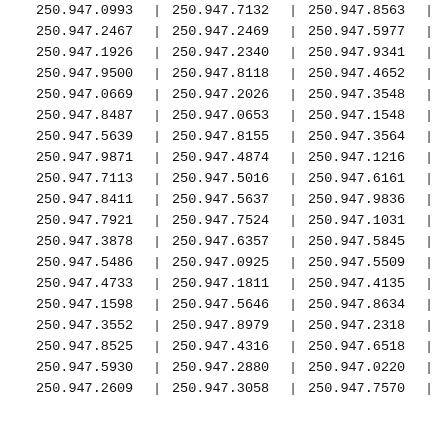| Col1 | Col2 | Col3 |
| --- | --- | --- |
| 250.947.0993 | 250.947.7132 | 250.947.8563 |
| 250.947.2467 | 250.947.2469 | 250.947.5977 |
| 250.947.1926 | 250.947.2340 | 250.947.9341 |
| 250.947.9500 | 250.947.8118 | 250.947.4652 |
| 250.947.0669 | 250.947.2026 | 250.947.3548 |
| 250.947.8487 | 250.947.0653 | 250.947.1548 |
| 250.947.5639 | 250.947.8155 | 250.947.3564 |
| 250.947.9871 | 250.947.4874 | 250.947.1216 |
| 250.947.7113 | 250.947.5016 | 250.947.6161 |
| 250.947.8411 | 250.947.5637 | 250.947.9836 |
| 250.947.7921 | 250.947.7524 | 250.947.1031 |
| 250.947.3878 | 250.947.6357 | 250.947.5845 |
| 250.947.5486 | 250.947.0925 | 250.947.5509 |
| 250.947.4733 | 250.947.1811 | 250.947.4135 |
| 250.947.1598 | 250.947.5646 | 250.947.8634 |
| 250.947.3552 | 250.947.8979 | 250.947.2318 |
| 250.947.8525 | 250.947.4316 | 250.947.6518 |
| 250.947.5930 | 250.947.2880 | 250.947.0220 |
| 250.947.2609 | 250.947.3058 | 250.947.7570 |